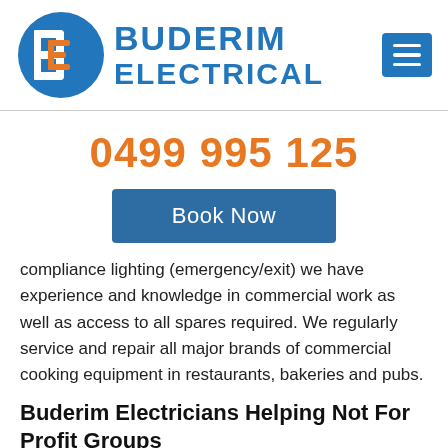[Figure (logo): Buderim Electrical logo: blue circle with stylized B/E letters (E in orange), followed by BUDERIM ELECTRICAL text in blue, and a blue hamburger menu button on the right]
0499 995 125
Book Now
compliance lighting (emergency/exit) we have experience and knowledge in commercial work as well as access to all spares required. We regularly service and repair all major brands of commercial cooking equipment in restaurants, bakeries and pubs.
Buderim Electricians Helping Not For Profit Groups